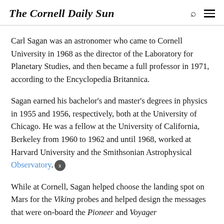The Cornell Daily Sun
Carl Sagan was an astronomer who came to Cornell University in 1968 as the director of the Laboratory for Planetary Studies, and then became a full professor in 1971, according to the Encyclopedia Britannica.
Sagan earned his bachelor's and master's degrees in physics in 1955 and 1956, respectively, both at the University of Chicago. He was a fellow at the University of California, Berkeley from 1960 to 1962 and until 1968, worked at Harvard University and the Smithsonian Astrophysical Observatory.
While at Cornell, Sagan helped choose the landing spot on Mars for the Viking probes and helped design the messages that were on-board the Pioneer and Voyager